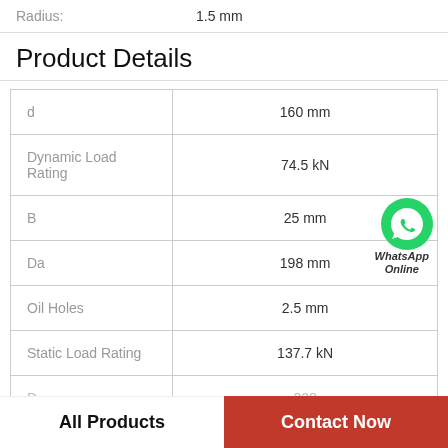Radius: 1.5 mm
Product Details
| d | 160 mm |
| Dynamic Load Rating | 74.5 kN |
| B | 25 mm |
| Da | 198 mm |
| Oil Holes | 2.5 mm |
| Static Load Rating | 137.7 kN |
| D | 228 |
WhatsApp Online
All Products
Contact Now